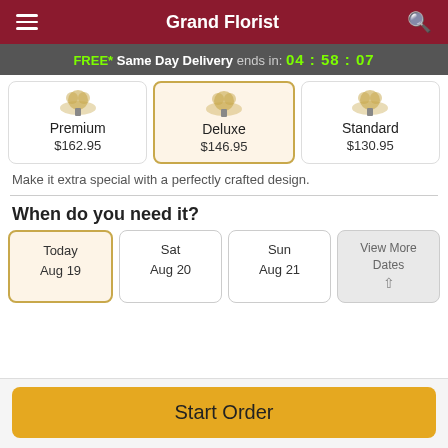Grand Florist
FREE* Same Day Delivery ends in: 04:58:07
| Premium | Deluxe | Standard |
| --- | --- | --- |
| $162.95 | $146.95 | $130.95 |
Make it extra special with a perfectly crafted design.
When do you need it?
Today Aug 19
Sat Aug 20
Sun Aug 21
View More Dates
Start Order